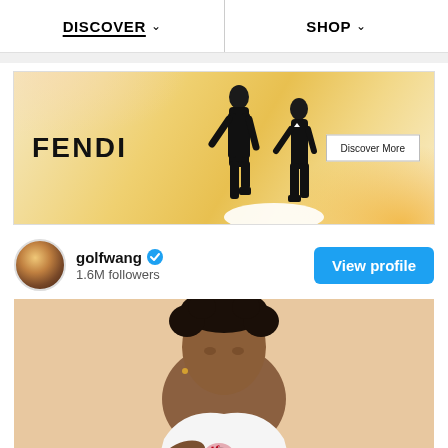DISCOVER  SHOP
[Figure (photo): Fendi fashion advertisement banner showing two men in black tuxedos against a warm gradient background, with FENDI logo on the left and a Discover More button on the right]
golfwang  1.6M followers
[Figure (photo): Instagram post from golfwang showing a young man with curly hair wearing a white graphic shirt with red script design against a tan/beige background]